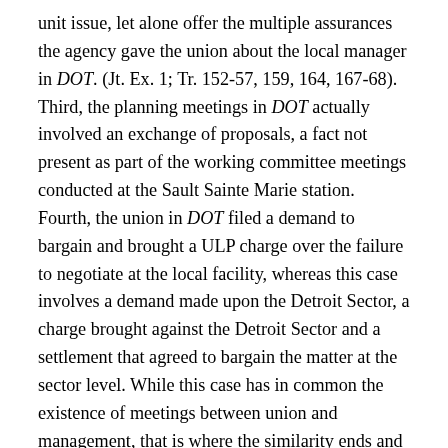unit issue, let alone offer the multiple assurances the agency gave the union about the local manager in DOT. (Jt. Ex. 1; Tr. 152-57, 159, 164, 167-68). Third, the planning meetings in DOT actually involved an exchange of proposals, a fact not present as part of the working committee meetings conducted at the Sault Sainte Marie station. Fourth, the union in DOT filed a demand to bargain and brought a ULP charge over the failure to negotiate at the local facility, whereas this case involves a demand made upon the Detroit Sector, a charge brought against the Detroit Sector and a settlement that agreed to bargain the matter at the sector level. While this case has in common the existence of meetings between union and management, that is where the similarity ends and the facts here demonstrate that the parties were not engaged in negotiations or collective bargaining as defined by the Statute. As the Authority observed in footnote 8 of the DOT decision, all discussions between union and management do not constitute collective bargaining and whether a discussion is prior to collective bargaining it is a determination and